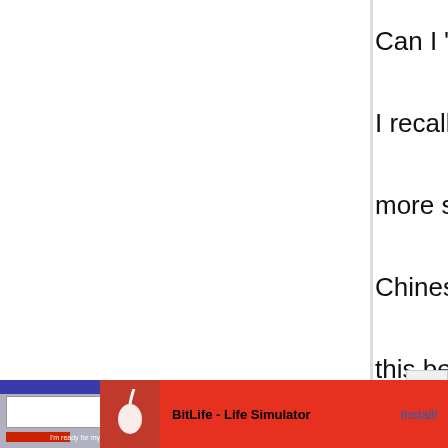Can I "Japanize" them? I recall Japanese are more sour than the Chinese ones I have; is this because of the alchohol? I can't seems to find shiso anywhere (which I'm really sorry as I love them). I love your blog, and it's my no. 1 Japanese
[Figure (screenshot): Ad banner for BitLife - Life Simulator app with red background, sperm icon, and Install button]